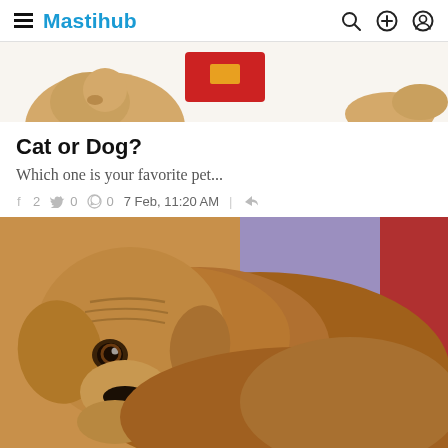Mastihub
[Figure (photo): Partial top view of a cat and dog lying side by side, with a red item between them, on a white background]
Cat or Dog?
Which one is your favorite pet...
f 2   0   0   7 Feb, 11:20 AM
[Figure (photo): Close-up photo of a brown dachshund dog resting on a colorful background with purple and red fabric visible]